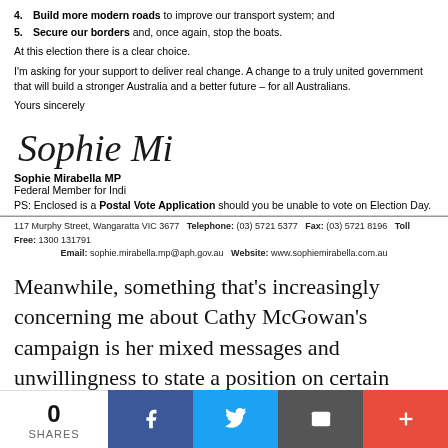4. Build more modern roads to improve our transport system; and
5. Secure our borders and, once again, stop the boats.
At this election there is a clear choice.
I'm asking for your support to deliver real change. A change to a truly united government that will build a stronger Australia and a better future – for all Australians.
Yours sincerely
[Figure (other): Handwritten cursive signature reading 'Sophie Mirabella']
Sophie Mirabella MP
Federal Member for Indi
PS: Enclosed is a Postal Vote Application should you be unable to vote on Election Day.
117 Murphy Street, Wangaratta VIC 3677   Telephone: (03) 5721 5377   Fax: (03) 5721 8196   Toll Free: 1300 131791
Email: sophie.mirabella.mp@aph.gov.au   Website: www.sophiemirabella.com.au
Meanwhile, something that's increasingly concerning me about Cathy McGowan's campaign is her mixed messages and unwillingness to state a position on certain vexed or controversial issues, including climate change. In her No Fibs